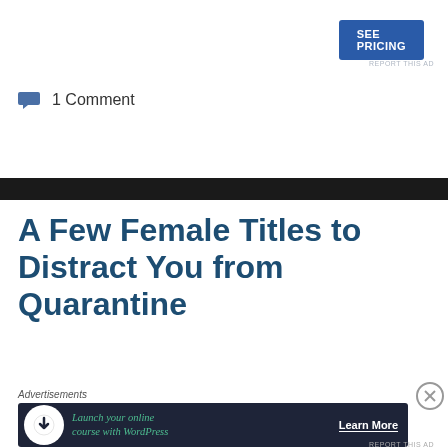[Figure (screenshot): Blue 'SEE PRICING' button in upper right area]
REPORT THIS AD
1 Comment
A Few Female Titles to Distract You from Quarantine
Advertisements
[Figure (screenshot): Dark advertisement banner: Launch your online course with WordPress — Learn More]